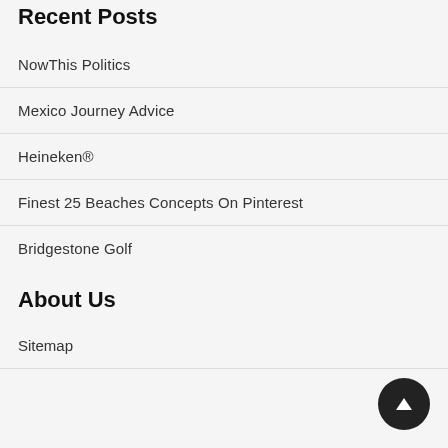Recent Posts
NowThis Politics
Mexico Journey Advice
Heineken®
Finest 25 Beaches Concepts On Pinterest
Bridgestone Golf
About Us
Sitemap